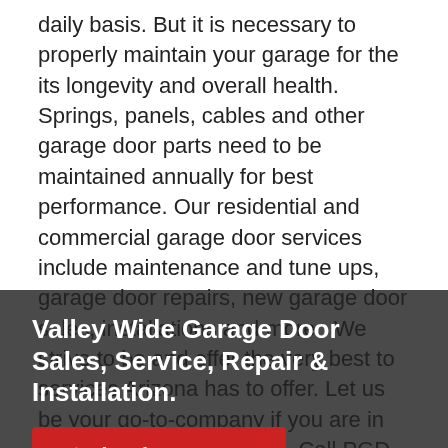daily basis. But it is necessary to properly maintain your garage for the its longevity and overall health. Springs, panels, cables and other garage door parts need to be maintained annually for best performance. Our residential and commercial garage door services include maintenance and tune ups, garage door repairs, new garage door sales, installations and more.  We strive to be and offer the very best to services Arizona has to offer. Let us be your go-to-company if you are in need of service or repairs. Call PGD now for service in the Parker, AZ area.
Valley Wide Garage Door Sales, Service, Repair & Installation.
(602) 870-9848